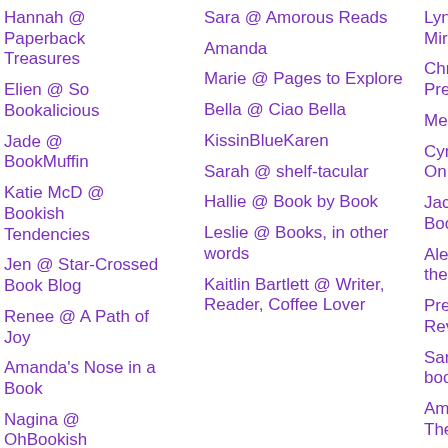Hannah @ Paperback Treasures
Sara @ Amorous Reads
Lynn @ Mirror
Elien @ So Bookalicious
Amanda
Christ Preju
Jade @ BookMuffin
Marie @ Pages to Explore
Melan
Katie McD @ Bookish Tendencies
Bella @ Ciao Bella
Cynth On Bo
Jen @ Star-Crossed Book Blog
KissinBlueKaren
Jacqu Book
Renee @ A Path of Joy
Sarah @ shelf-tacular
Alexa the Pa
Amanda's Nose in a Book
Hallie @ Book by Book
Pretty Revie
Nagina @ OhBookish
Leslie @ Books, in other words
Sarah books
Mackenzie Carol @ Spreading His Grace
Kaitlin Bartlett @ Writer, Reader, Coffee Lover
Aman The S